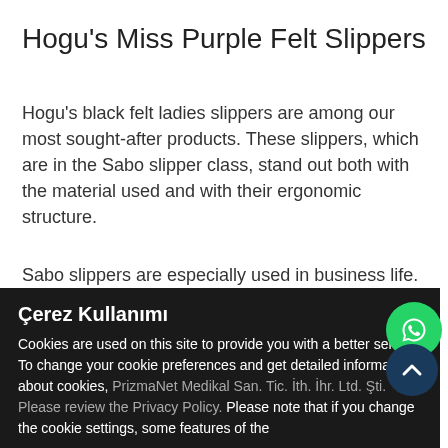Hogu's Miss Purple Felt Slippers
Hogu's black felt ladies slippers are among our most sought-after products. These slippers, which are in the Sabo slipper class, stand out both with the material used and with their ergonomic structure.
Sabo slippers are especially used in business life. Therefore, the demand for sabo slippers is increasing be used... the re...
Çerez Kullanımı
Cookies are used on this site to provide you with a better service. To change your cookie preferences and get detailed information about cookies, PrizmaNet Medikal San. Tic. İth. İhr. Ltd. Şti. Please review the Privacy Policy. Please note that if you change the cookie settings, some features of the
$34.00 (Vat included)